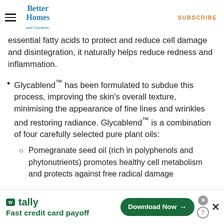Better Homes and Gardens | SUBSCRIBE
essential fatty acids to protect and reduce cell damage and disintegration, it naturally helps reduce redness and inflammation.
Glycablend™ has been formulated to subdue this process, improving the skin's overall texture, minimising the appearance of fine lines and wrinkles and restoring radiance. Glycablend™ is a combination of four carefully selected pure plant oils:
Pomegranate seed oil (rich in polyphenols and phytonutrients) promotes healthy cell metabolism and protects against free radical damage
[Figure (other): Tally advertisement banner: Fast credit card payoff with Download Now button]